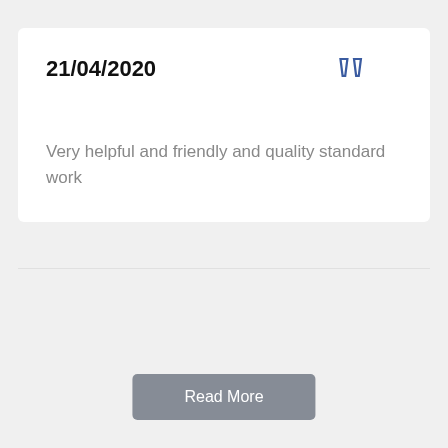21/04/2020
Very helpful and friendly and quality standard work
Read More